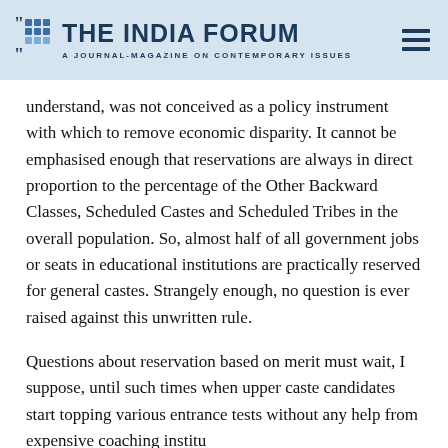THE INDIA FORUM — A JOURNAL-MAGAZINE ON CONTEMPORARY ISSUES
understand, was not conceived as a policy instrument with which to remove economic disparity. It cannot be emphasised enough that reservations are always in direct proportion to the percentage of the Other Backward Classes, Scheduled Castes and Scheduled Tribes in the overall population. So, almost half of all government jobs or seats in educational institutions are practically reserved for general castes. Strangely enough, no question is ever raised against this unwritten rule.
Questions about reservation based on merit must wait, I suppose, until such times when upper caste candidates start topping various entrance tests without any help from expensive coaching institutes, or when all aspirants have equal access to and can purchase “merit” from such expensive training